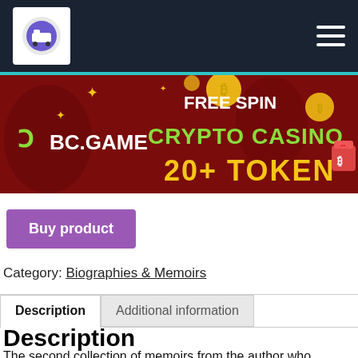Navigation bar with logo and hamburger menu
[Figure (infographic): BC.GAME crypto casino advertisement banner with red background. Text reads: FREE SPIN, BC.GAME, CRYPTO CASINO, 20+ TOKEN with bitcoin and decoration graphics.]
Buy product
Category: Biographies & Memoirs
Description | Additional information (tabs)
Description
The second collection of memoirs from the author who inspired the BBC series All Creatures Great and Small. Now settled into the sleepy Yorkshire village of Darrowby, and married to Helen the farmer's daughter, James Herriot thinks he's finally got himself sorted. But life as a